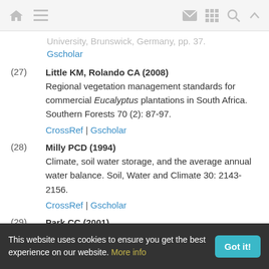[Navigation bar with home, menu, mail, grid, search, and up icons]
University, Brunswick, Germany, pp. 37.
Gscholar
(27) Little KM, Rolando CA (2008)
Regional vegetation management standards for commercial Eucalyptus plantations in South Africa. Southern Forests 70 (2): 87-97.
CrossRef | Gscholar
(28) Milly PCD (1994)
Climate, soil water storage, and the average annual water balance. Soil, Water and Climate 30: 2143-2156.
CrossRef | Gscholar
(29) Park CC (2001)
The environment: principles and applications.
This website uses cookies to ensure you get the best experience on our website. More info  Got it!